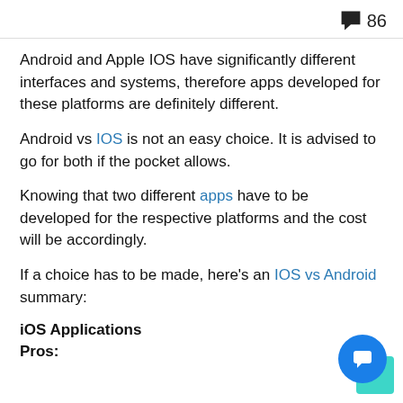86
Android and Apple IOS have significantly different interfaces and systems, therefore apps developed for these platforms are definitely different.
Android vs IOS is not an easy choice. It is advised to go for both if the pocket allows.
Knowing that two different apps have to be developed for the respective platforms and the cost will be accordingly.
If a choice has to be made, here’s an IOS vs Android summary:
iOS Applications
Pros: